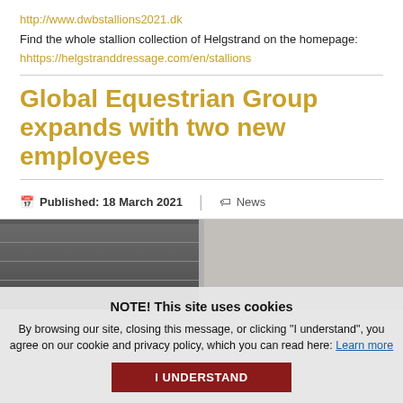http://www.dwbstallions2021.dk
Find the whole stallion collection of Helgstrand on the homepage:
hhttps://helgstranddressage.com/en/stallions
Global Equestrian Group expands with two new employees
Published: 18 March 2021 | News
[Figure (photo): Two people photographed outdoors in front of a building with windows]
NOTE! This site uses cookies
By browsing our site, closing this message, or clicking "I understand", you agree on our cookie and privacy policy, which you can read here: Learn more
I UNDERSTAND